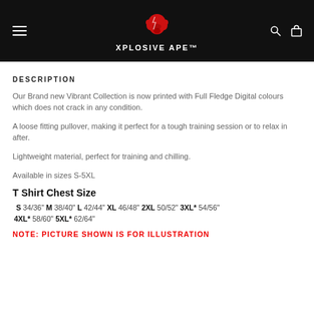[Figure (logo): Xplosive Ape logo with red gorilla graphic and white text on black header bar]
DESCRIPTION
Our Brand new Vibrant Collection is now printed with Full Fledge Digital colours which does not crack in any condition.
A loose fitting pullover, making it perfect for a tough training session or to relax in after.
Lightweight material, perfect for training and chilling.
Available in sizes S-5XL
T Shirt Chest Size
S 34/36" M 38/40" L 42/44" XL 46/48" 2XL 50/52" 3XL* 54/56" 4XL* 58/60" 5XL* 62/64"
NOTE: PICTURE SHOWN IS FOR ILLUSTRATION